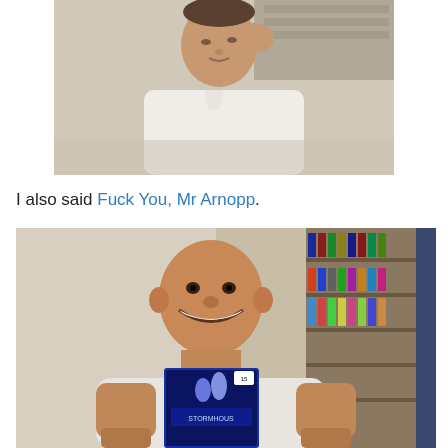[Figure (photo): Photograph of an older man in a white shirt, resting his hand against his head, looking contemplative or stressed, with what appears to be shelving in the background.]
I also said Fuck You, Mr Arnopp.
[Figure (photo): Photograph of a bald man smiling and holding up what appears to be a DVD or book with 'STORMHOUSE' visible on the cover, standing in front of a bookshelf filled with DVDs and a dark curtain to the right.]